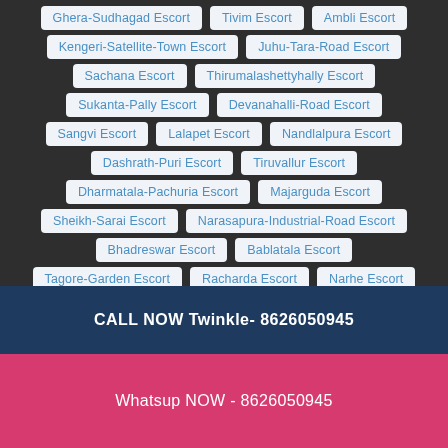Ghera-Sudhagad Escort
Tivim Escort
Ambli Escort
Kengeri-Satellite-Town Escort
Juhu-Tara-Road Escort
Sachana Escort
Thirumalashettyhally Escort
Sukanta-Pally Escort
Devanahalli-Road Escort
Sangvi Escort
Lalapet Escort
Nandlalpura Escort
Dashrath-Puri Escort
Tiruvallur Escort
Dharmatala-Pachuria Escort
Majarguda Escort
Sheikh-Sarai Escort
Narasapura-Industrial-Road Escort
Bhadreswar Escort
Bablatala Escort
Tagore-Garden Escort
Racharda Escort
Narhe Escort
Rendlagadda Escort
Wazirbagh-Mohallah Escort
Dodda-Aalada-Mara-Road Escort
Dum-Dum Escort
Chikka-Tirupathi Escort
Kphb Escort
Raigurunagar Escort
Kanaka-Nagar Escort
CALL NOW Twinkle- 8626050945
Whatsup NOW - 8626050945